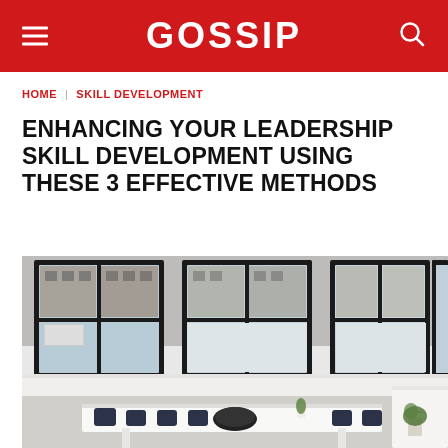GOSSIP
HOME | SKILL DEVELOPMENT
ENHANCING YOUR LEADERSHIP SKILL DEVELOPMENT USING THESE 3 EFFECTIVE METHODS
[Figure (photo): A bright modern conference room with a long white table surrounded by dark chairs, several large black-framed windows overlooking a brick building outside, and a small plant on the table.]